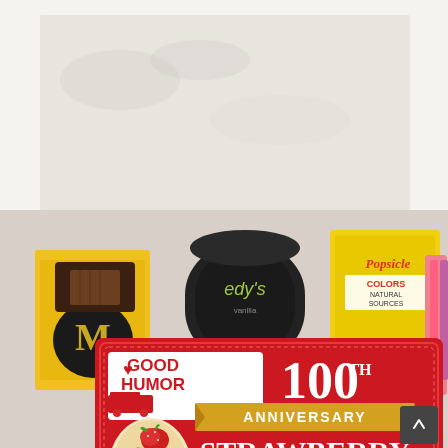[Figure (photo): A hand holding a Good Humor 100th Anniversary Strawberry Shortcake ice cream bar box (red box, 6 bars) in front of a kitchen counter with other ice cream products including Magnum bars, Breyers ice cream, Popsicle box, and other frozen treats in the background.]